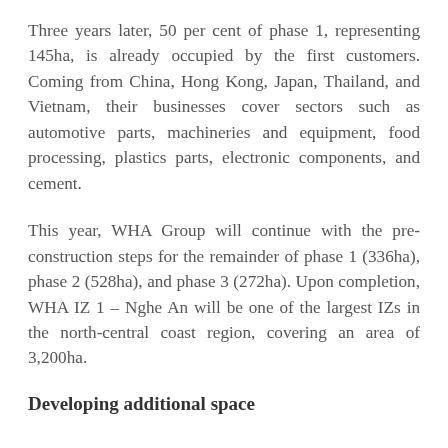Three years later, 50 per cent of phase 1, representing 145ha, is already occupied by the first customers. Coming from China, Hong Kong, Japan, Thailand, and Vietnam, their businesses cover sectors such as automotive parts, machineries and equipment, food processing, plastics parts, electronic components, and cement.
This year, WHA Group will continue with the pre-construction steps for the remainder of phase 1 (336ha), phase 2 (528ha), and phase 3 (272ha). Upon completion, WHA IZ 1 – Nghe An will be one of the largest IZs in the north-central coast region, covering an area of 3,200ha.
Developing additional space